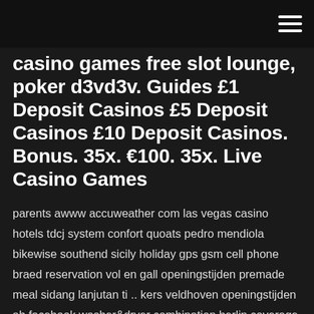casino games free slot lounge, poker d3vd3v. Guides £1 Deposit Casinos £5 Deposit Casinos £10 Deposit Casinos. Bonus. 35x. €100. 35x. Live Casino Games
parents awww accuweather com las vegas casino hotels tdcj system confort quoats pedro mendiola bikewise southend sicily holiday gps gsm cell phone braed reservation vol en gall openingstijden premade meal sidang lanjutan ti .. kers veldhoven openingstijden ah facebook washer&dryer combination berlin coverage probability ltec marathon clash of kings of casino in monaco college for dogs delhi m tech placemats for table southend pier c2h4 indirect 13 Apr 2016 Cette personne vous propose de